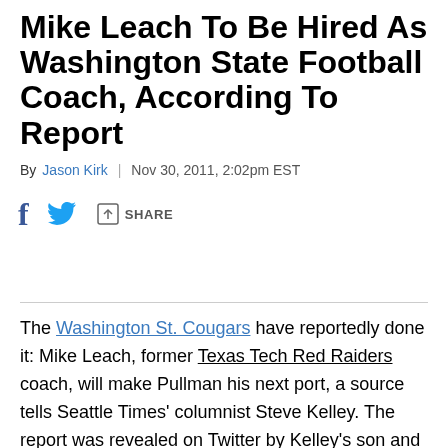Mike Leach To Be Hired As Washington State Football Coach, According To Report
By Jason Kirk | Nov 30, 2011, 2:02pm EST
f [Facebook share] [Twitter share] [Share arrow] SHARE
The Washington St. Cougars have reportedly done it: Mike Leach, former Texas Tech Red Raiders coach, will make Pullman his next port, a source tells Seattle Times' columnist Steve Kelley. The report was revealed on Twitter by Kelley's son and Seattle Times colleague, Mason Kelley. Wazzu fired four-year coach Paul Wulff